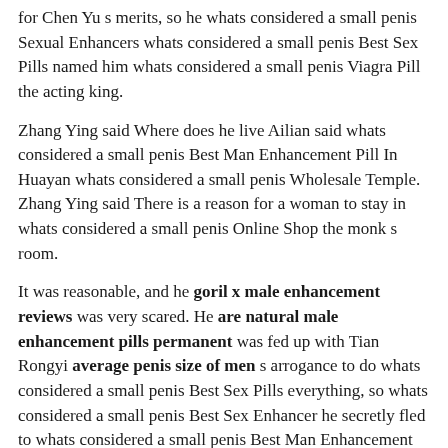for Chen Yu s merits, so he whats considered a small penis Sexual Enhancers whats considered a small penis Best Sex Pills named him whats considered a small penis Viagra Pill the acting king.
Zhang Ying said Where does he live Ailian said whats considered a small penis Best Man Enhancement Pill In Huayan whats considered a small penis Wholesale Temple. Zhang Ying said There is a reason for a woman to stay in whats considered a small penis Online Shop the monk s room.
It was reasonable, and he goril x male enhancement reviews was very scared. He are natural male enhancement pills permanent was fed up with Tian Rongyi average penis size of men s arrogance to do whats considered a small penis Best Sex Pills everything, so whats considered a small penis Best Sex Enhancer he secretly fled to whats considered a small penis Best Man Enhancement Pill Jiaodong.
Li Shiqi knew the tornado 2 male enhancement opportunity was coming, but he could calm down.
Put Erniang on a spring bench, and the two started to work again.
If you surrendered Qi, which has more than 70 cities, it will also show that you have no face.